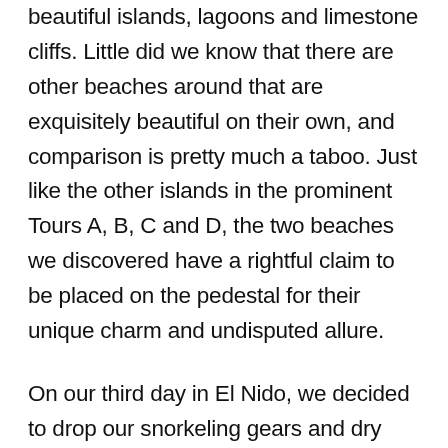beautiful islands, lagoons and limestone cliffs. Little did we know that there are other beaches around that are exquisitely beautiful on their own, and comparison is pretty much a taboo. Just like the other islands in the prominent Tours A, B, C and D, the two beaches we discovered have a rightful claim to be placed on the pedestal for their unique charm and undisputed allure.
On our third day in El Nido, we decided to drop our snorkeling gears and dry bags to have a serene and much more laid back day at the beach. The first two days were packed with water adventures such as swimming, snorkeling, entering lagoons, kayaking that we wanted to devote our last day spoiling ourselves in the stretches of creamy sand – just